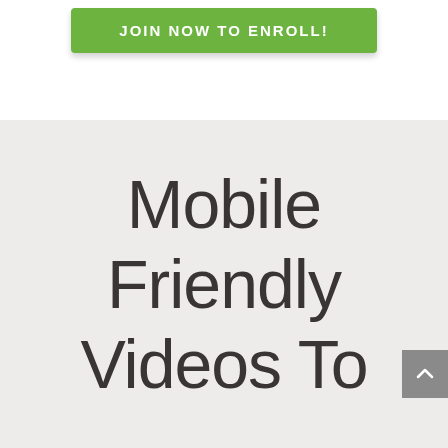[Figure (screenshot): Green call-to-action button with white uppercase text reading 'JOIN NOW TO ENROLL!']
Mobile Friendly Videos To